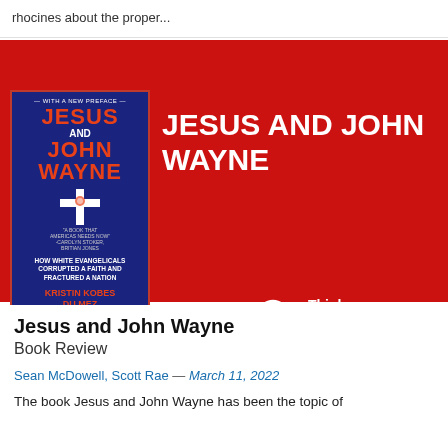rhocines about the proper...
[Figure (illustration): Book cover and promotional banner for 'Jesus and John Wayne' by Kristin Kobes Du Mez on a red background, with the Think Biblically podcast logo.]
Jesus and John Wayne
Book Review
Sean McDowell, Scott Rae — March 11, 2022
The book Jesus and John Wayne has been the topic of